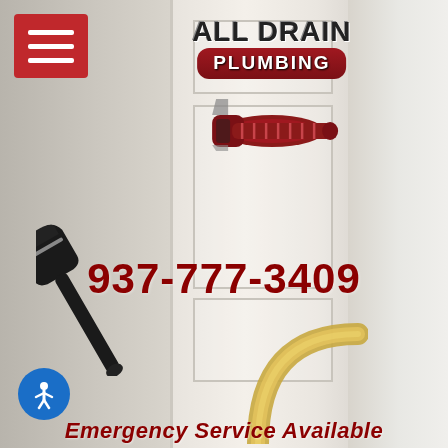[Figure (logo): All Drain Plumbing logo with wrench imagery and red banner]
937-777-3409
[Figure (illustration): Black pipe wrench icon on lower left]
[Figure (illustration): Blue accessibility icon button with person symbol]
[Figure (illustration): Gold/brass faucet arc at bottom right]
Emergency Service Available